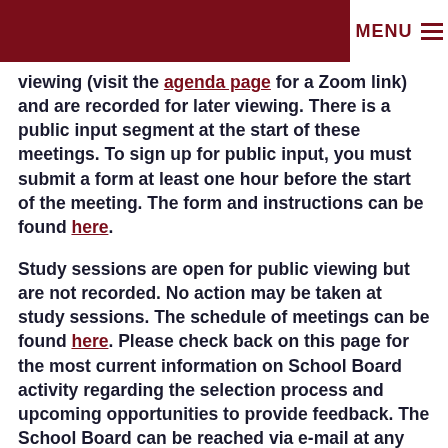MENU ☰
viewing (visit the agenda page for a Zoom link) and are recorded for later viewing. There is a public input segment at the start of these meetings. To sign up for public input, you must submit a form at least one hour before the start of the meeting. The form and instructions can be found here.
Study sessions are open for public viewing but are not recorded. No action may be taken at study sessions. The schedule of meetings can be found here. Please check back on this page for the most current information on School Board activity regarding the selection process and upcoming opportunities to provide feedback. The School Board can be reached via e-mail at any time at board@mercerislandschools.org.